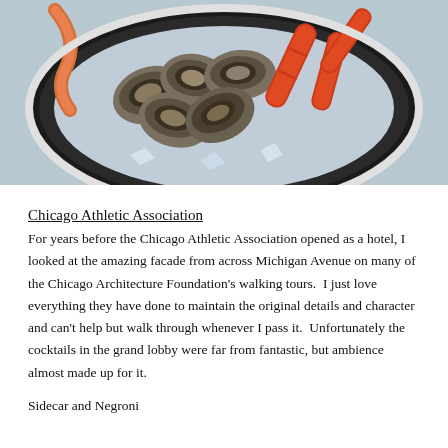[Figure (photo): A plate of oysters and crab legs viewed from above on a dark plate]
Chicago Athletic Association
For years before the Chicago Athletic Association opened as a hotel, I looked at the amazing facade from across Michigan Avenue on many of the Chicago Architecture Foundation's walking tours.  I just love everything they have done to maintain the original details and character and can't help but walk through whenever I pass it.  Unfortunately the cocktails in the grand lobby were far from fantastic, but ambience almost made up for it.
Sidecar and Negroni